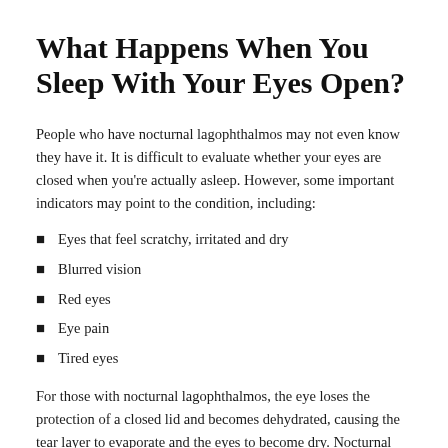What Happens When You Sleep With Your Eyes Open?
People who have nocturnal lagophthalmos may not even know they have it. It is difficult to evaluate whether your eyes are closed when you're actually asleep. However, some important indicators may point to the condition, including:
Eyes that feel scratchy, irritated and dry
Blurred vision
Red eyes
Eye pain
Tired eyes
For those with nocturnal lagophthalmos, the eye loses the protection of a closed lid and becomes dehydrated, causing the tear layer to evaporate and the eyes to become dry. Nocturnal lagophthalmos also reduces the eye’s ability to discharge contaminants such as dust and debris that fall into the eye during the night. These contaminants can potentially lead to